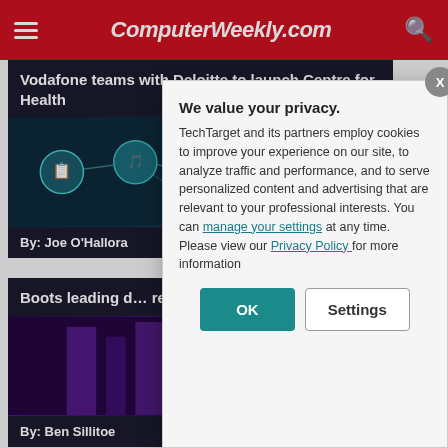ComputerWeekly.com
Vodafone teams with Deloitte to launch Centre for Health
[Figure (illustration): Network health icons connected by lines on dark teal background]
By: Joe O'Hallora
Boots leading d… retail
[Figure (photo): Purple-lit retail interior]
By: Ben Sillitoe
We value your privacy.
TechTarget and its partners employ cookies to improve your experience on our site, to analyze traffic and performance, and to serve personalized content and advertising that are relevant to your professional interests. You can manage your settings at any time. Please view our Privacy Policy for more information